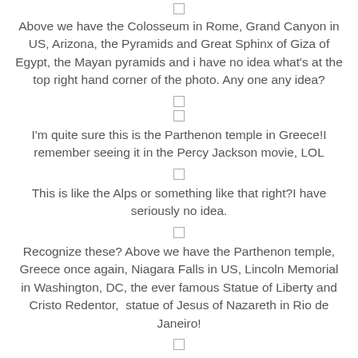[Figure (other): Checkbox icon at top]
Above we have the Colosseum in Rome, Grand Canyon in US, Arizona, the Pyramids and Great Sphinx of Giza of Egypt, the Mayan pyramids and i have no idea what's at the top right hand corner of the photo. Any one any idea?
[Figure (other): Checkbox icon]
[Figure (other): Checkbox icon]
I'm quite sure this is the Parthenon temple in Greece!I remember seeing it in the Percy Jackson movie, LOL
[Figure (other): Checkbox icon]
This is like the Alps or something like that right?I have seriously no idea.
[Figure (other): Checkbox icon]
Recognize these? Above we have the Parthenon temple, Greece once again, Niagara Falls in US, Lincoln Memorial in Washington, DC, the ever famous Statue of Liberty and Cristo Redentor,  statue of Jesus of Nazareth in Rio de Janeiro!
[Figure (other): Checkbox icon]
The Niagara Falls was really huge and we definitely had to take a photo with it! Mount Rushmore in United States! The heads of the 4 US presidents!